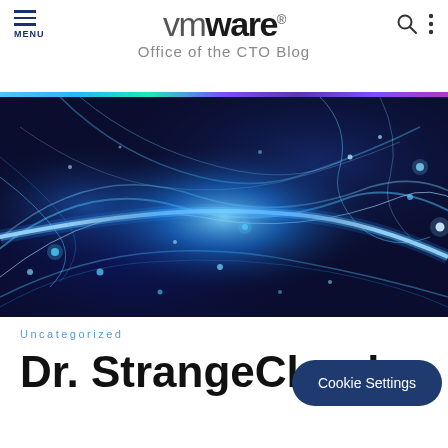vmware® Office of the CTO Blog
[Figure (illustration): Abstract blue glowing energy lines and particles on dark blue background, representing digital technology or cloud computing concept.]
Uncategorized
Dr. StrangeCloud
Cookie Settings